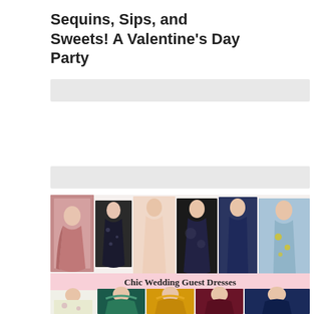Sequins, Sips, and Sweets! A Valentine’s Day Party
[Figure (illustration): Gray banner/ad placeholder bar at top]
[Figure (illustration): Gray banner/ad placeholder bar in middle]
[Figure (photo): Collage image showing women in various dresses with text 'Chic Wedding Guest Dresses' overlaid on a pink banner in the middle. Top row shows 6 women in formal dresses (mauve wrap, black floral, blush maxi, black floral, navy, blue/yellow floral). Bottom row shows partial view of 4 women in colored dresses (white floral, teal ruffled, mustard ruffled, burgundy, navy, black).]